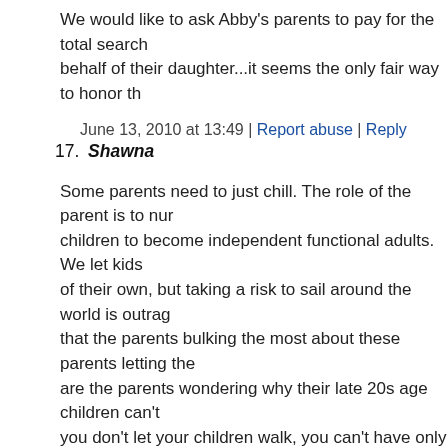We would like to ask Abby's parents to pay for the total search on behalf of their daughter...it seems the only fair way to honor th
June 13, 2010 at 13:49 | Report abuse | Reply
17. Shawna
Some parents need to just chill. The role of the parent is to nur children to become independent functional adults. We let kids of their own, but taking a risk to sail around the world is outrag that the parents bulking the most about these parents letting the are the parents wondering why their late 20s age children can't you don't let your children walk, you can't have only yourself t anywhere.
June 13, 2010 at 14:33 | Report abuse | Reply
18. Todd
My only issue with teens (under 18) taking on challenges like understand what the risks are and are fully prepared to execute and one that is respectful of the sport. With that said, I do have other comments bashing the parents for letting this happen and category of teen maturity that she obviously doesn't belong in. handled her trip better than most "adults". I've known many tee matured quickly – some would call them "old souls" – and cou responsibility with no concerns. Now does that mean that bec